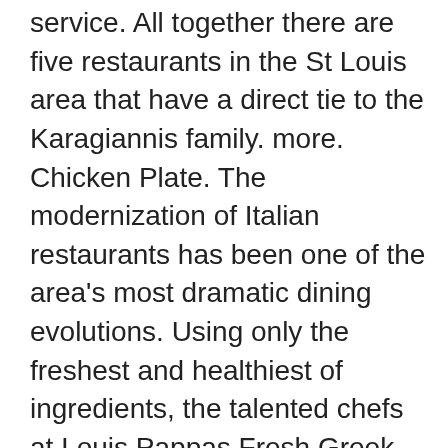service. All together there are five restaurants in the St Louis area that have a direct tie to the Karagiannis family. more. Chicken Plate. The modernization of Italian restaurants has been one of the area's most dramatic dining evolutions. Using only the freshest and healthiest of ingredients, the talented chefs at Louis Pappas Fresh Greek whip up great food fast in an upscale yet casual setting. #101 Kirkwood, MO 63122 314-462-9112 314-462-9912 OPEN Tue-Sun 11am-7pm Saint Louis, MO 63102. 6 people like this. Mel: Best Greek salad in St. Louis. Louis Pappas Fresh Greek serves up Greek to a new generation of today's busy customers who refuse to choose between convenience and great taste. Opa!! The Greek community of St Louis rushes to this restaurant after church services on Sundays. Greek Food in Saint Louis Showing 1-22 of 22 1. St. Louis, MO 63103 . Best Greek Restaurants in Saint Louis Park, Minnesota: Find Tripadvisor traveller